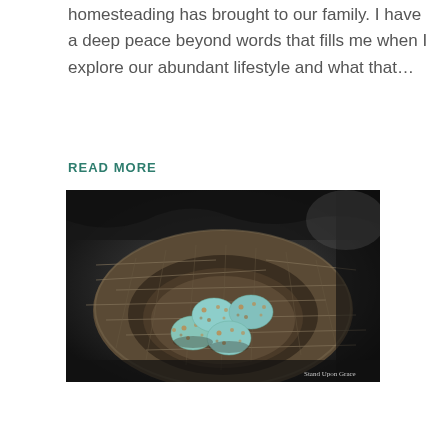homesteading has brought to our family. I have a deep peace beyond words that fills me when I explore our abundant lifestyle and what that…
READ MORE
[Figure (photo): Black and white photograph of a bird's nest containing four speckled teal/turquoise eggs. The nest is made of straw and fine fibers. A watermark reads 'Stand Upon Grace' in the lower right corner.]